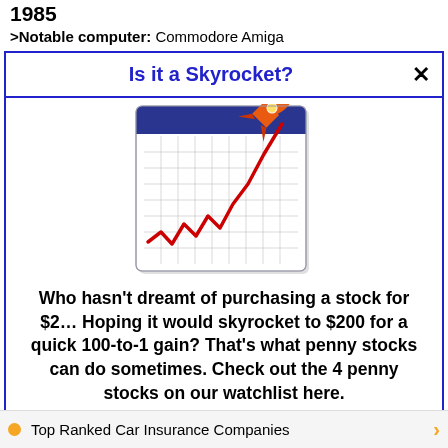1985
>Notable computer: Commodore Amiga
Is it a Skyrocket?
[Figure (illustration): Stock chart icon showing a rising red line on a grid background with a rocket in the upper right corner, representing skyrocketing stock prices.]
Who hasn't dreamt of purchasing a stock for $2… Hoping it would skyrocket to $200 for a quick 100-to-1 gain? That's what penny stocks can do sometimes. Check out the 4 penny stocks on our watchlist here.
>>> See The List <<<
Top Ranked Car Insurance Companies